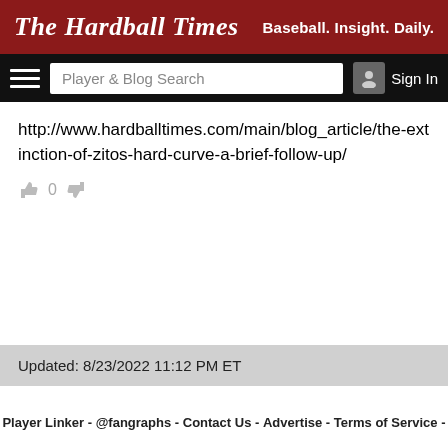The Hardball Times — Baseball. Insight. Daily.
http://www.hardballtimes.com/main/blog_article/the-extinction-of-zitos-hard-curve-a-brief-follow-up/
0
Updated: 8/23/2022 11:12 PM ET
Player Linker - @fangraphs - Contact Us - Advertise - Terms of Service -